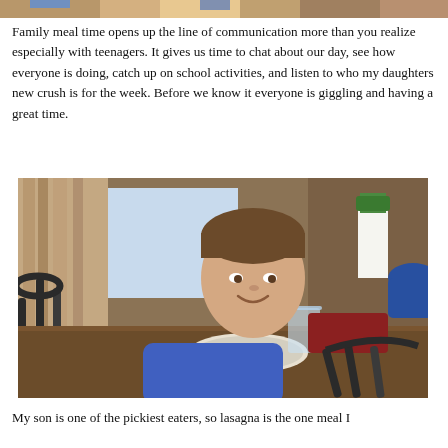[Figure (photo): Top edge of a photo showing people at a meal, cropped to a thin strip at the top of the page]
Family meal time opens up the line of communication more than you realize especially with teenagers. It gives us time to chat about our day, see how everyone is doing, catch up on school activities, and listen to who my daughters new crush is for the week. Before we know it everyone is giggling and having a great time.
[Figure (photo): A young boy in a blue shirt sitting at a wooden dining table, smiling at the camera, with a plate of food, a glass mug of water, a bottle of dressing, and a blue bowl visible on the table. Black spindle-back chairs are in the foreground and background.]
My son is one of the pickiest eaters, so lasagna is the one meal I